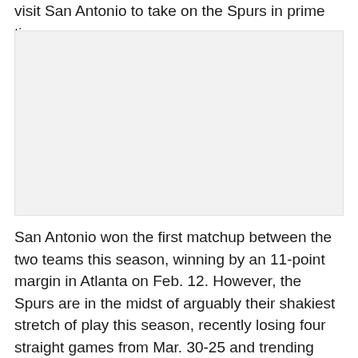visit San Antonio to take on the Spurs in prime time.
[Figure (photo): Image placeholder area, light gray background]
San Antonio won the first matchup between the two teams this season, winning by an 11-point margin in Atlanta on Feb. 12. However, the Spurs are in the midst of arguably their shakiest stretch of play this season, recently losing four straight games from Mar. 30-25 and trending toward the .500 mark after a hot